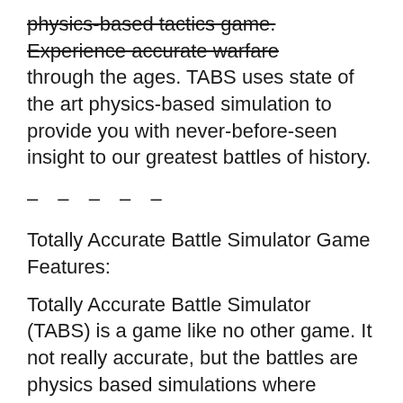physics-based tactics game. Experience accurate warfare through the ages. TABS uses state of the art physics-based simulation to provide you with never-before-seen insight to our greatest battles of history.
– – – – –
Totally Accurate Battle Simulator Game Features:
Totally Accurate Battle Simulator (TABS) is a game like no other game. It not really accurate, but the battles are physics based simulations where numerous wacky characters battle through different technology ages to become the ultimate champions of the Totally Accurate Battles!
TABS Early Access has 5 different factions:
Tribal Cavemen, Farmers, Medieval Knights, Ancient Warriors, and Vikings!